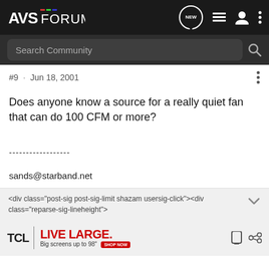AVS FORUM — navigation bar with logo, NEW, list, user, and menu icons
Search Community
#9 · Jun 18, 2001
Does anyone know a source for a really quiet fan that can do 100 CFM or more?
------------------
sands@starband.net
<div class="post-sig post-sig-limit shazam usersig-click"><div class="reparse-sig-lineheight">
[Figure (other): TCL LIVE LARGE advertisement banner — Big screens up to 98" with SHOP NOW button]